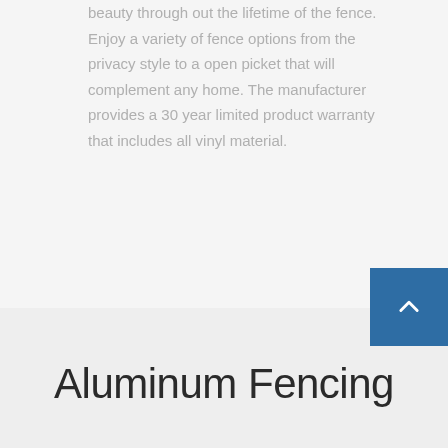beauty through out the lifetime of the fence. Enjoy a variety of fence options from the privacy style to a open picket that will complement any home. The manufacturer provides a 30 year limited product warranty that includes all vinyl material.
Aluminum Fencing